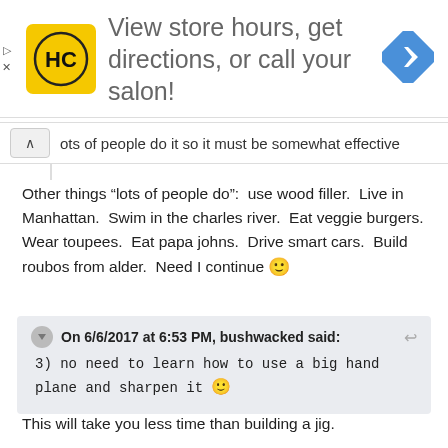[Figure (other): Advertisement banner: HC logo on yellow square, text 'View store hours, get directions, or call your salon!', blue navigation diamond icon on right]
lots of people do it so it must be somewhat effective
Other things "lots of people do":  use wood filler.  Live in Manhattan.  Swim in the charles river.  Eat veggie burgers.  Wear toupees.  Eat papa johns.  Drive smart cars.  Build roubos from alder.  Need I continue 🙂
On 6/6/2017 at 6:53 PM, bushwacked said:
3) no need to learn how to use a big hand plane and sharpen it 🙂
This will take you less time than building a jig.